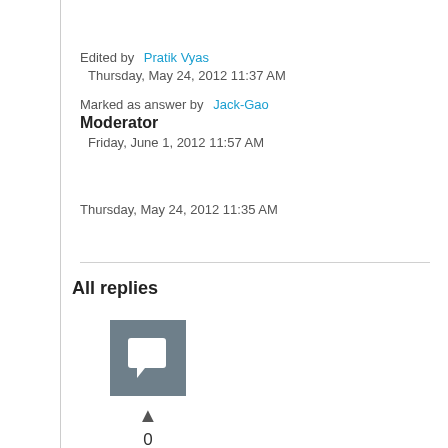Edited by Pratik Vyas
Thursday, May 24, 2012 11:37 AM
Marked as answer by Jack-Gao
Moderator
Friday, June 1, 2012 11:57 AM
Thursday, May 24, 2012 11:35 AM
All replies
[Figure (other): User avatar placeholder icon — grey square with white chat/flag icon]
▲
0
Sign in to vote